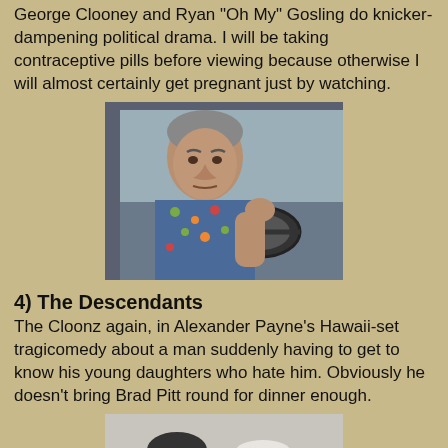George Clooney and Ryan "Oh My" Gosling do knicker-dampening political drama. I will be taking contraceptive pills before viewing because otherwise I will almost certainly get pregnant just by watching.
[Figure (photo): George Clooney sitting in a car wearing a floral/Hawaiian shirt, looking intense]
4) The Descendants
The Cloonz again, in Alexander Payne's Hawaii-set tragicomedy about a man suddenly having to get to know his young daughters who hate him. Obviously he doesn't bring Brad Pitt round for dinner enough.
[Figure (photo): Black and white photo of a man and woman laughing together, The Artist movie still]
5) The Artist